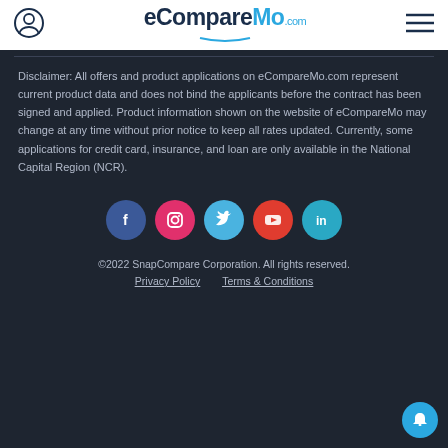eCompareMo.com
Disclaimer: All offers and product applications on eCompareMo.com represent current product data and does not bind the applicants before the contract has been signed and applied. Product information shown on the website of eCompareMo may change at any time without prior notice to keep all rates updated. Currently, some applications for credit card, insurance, and loan are only available in the National Capital Region (NCR).
[Figure (infographic): Social media icons row: Facebook (blue circle), Instagram (pink/red circle), Twitter (light blue circle), YouTube (red-orange circle), LinkedIn (teal circle)]
©2022 SnapCompare Corporation. All rights reserved. Privacy Policy   Terms & Conditions